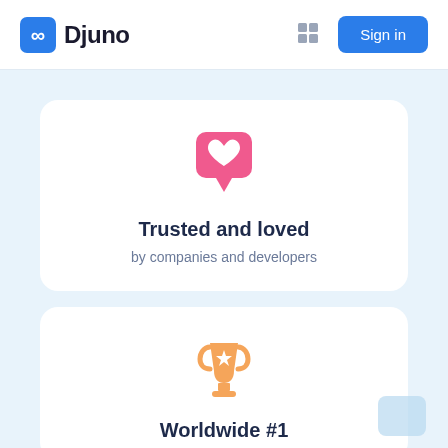[Figure (logo): Djuno logo with blue rounded square icon and bold text 'Djuno']
[Figure (screenshot): Grid/apps icon in navbar]
Sign in
[Figure (illustration): Pink speech bubble with white heart icon]
Trusted and loved
by companies and developers
[Figure (illustration): Orange trophy icon with star]
Worldwide #1